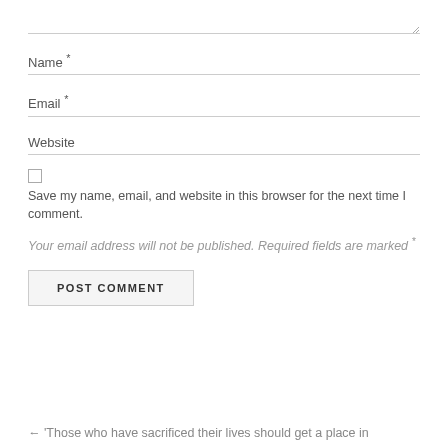Name *
Email *
Website
Save my name, email, and website in this browser for the next time I comment.
Your email address will not be published. Required fields are marked *
POST COMMENT
← 'Those who have sacrificed their lives should get a place in